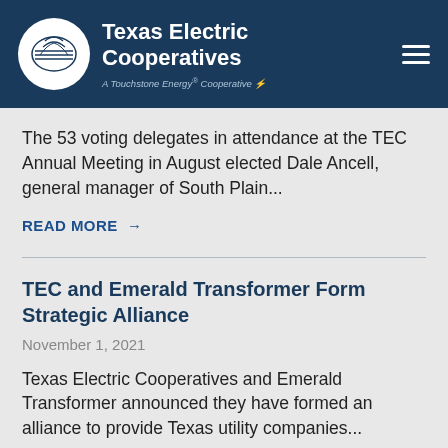Texas Electric Cooperatives — A Touchstone Energy Cooperative
The 53 voting delegates in attendance at the TEC Annual Meeting in August elected Dale Ancell, general manager of South Plain...
READ MORE →
TEC and Emerald Transformer Form Strategic Alliance
November 1, 2021
Texas Electric Cooperatives and Emerald Transformer announced they have formed an alliance to provide Texas utility companies...